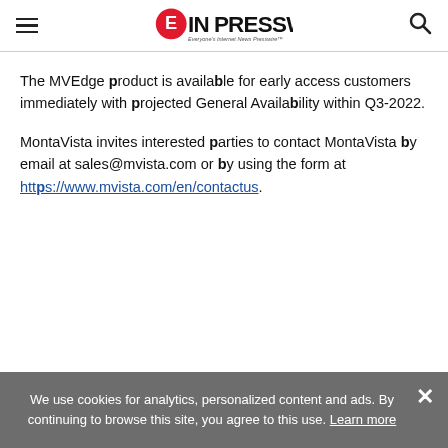EINPresswire - Everyone's Internet News Presswire
The MVEdge product is available for early access customers immediately with projected General Availability within Q3-2022.
MontaVista invites interested parties to contact MontaVista by email at sales@mvista.com or by using the form at https://www.mvista.com/en/contactus.
We use cookies for analytics, personalized content and ads. By continuing to browse this site, you agree to this use. Learn more